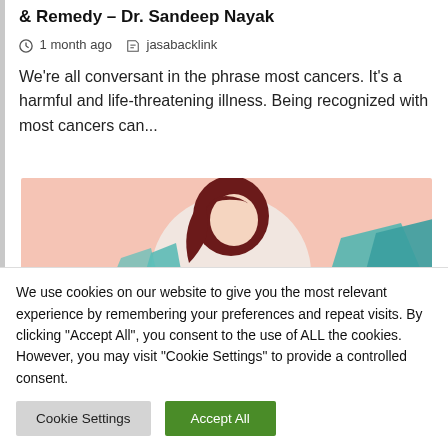& Remedy – Dr. Sandeep Nayak
1 month ago   jasabacklink
We're all conversant in the phrase most cancers. It's a harmful and life-threatening illness. Being recognized with most cancers can...
[Figure (illustration): Illustration of a woman with dark hair on a pink background with teal/blue elements]
We use cookies on our website to give you the most relevant experience by remembering your preferences and repeat visits. By clicking "Accept All", you consent to the use of ALL the cookies. However, you may visit "Cookie Settings" to provide a controlled consent.